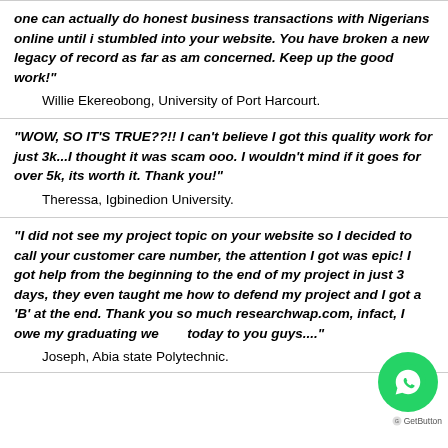one can actually do honest business transactions with Nigerians online until i stumbled into your website. You have broken a new legacy of record as far as am concerned. Keep up the good work!"
    Willie Ekereobong, University of Port Harcourt.
"WOW, SO IT'S TRUE??!! I can't believe I got this quality work for just 3k...I thought it was scam ooo. I wouldn't mind if it goes for over 5k, its worth it. Thank you!"
    Theressa, Igbinedion University.
"I did not see my project topic on your website so I decided to call your customer care number, the attention I got was epic! I got help from the beginning to the end of my project in just 3 days, they even taught me how to defend my project and I got a 'B' at the end. Thank you so much researchwap.com, infact, I owe my graduating we... today to you guys...."
    Joseph, Abia state Polytechnic.